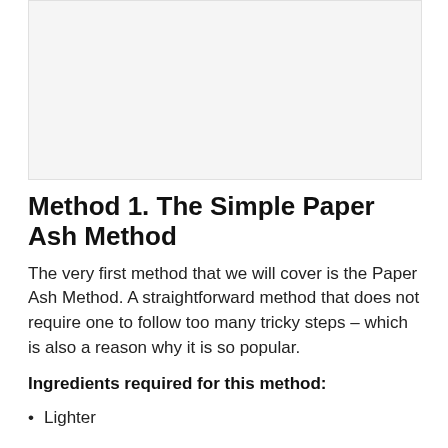[Figure (photo): Image placeholder area at the top of the page]
Method 1. The Simple Paper Ash Method
The very first method that we will cover is the Paper Ash Method. A straightforward method that does not require one to follow too many tricky steps – which is also a reason why it is so popular.
Ingredients required for this method:
Lighter